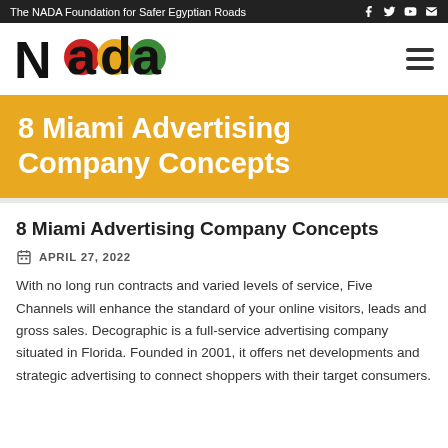The NADA Foundation for Safer Egyptian Roads
[Figure (logo): NADA logo with stylized letters and traffic light colored circles — red, orange, green]
8 Miami Advertising Company Concepts
8 Miami Advertising Company Concepts
APRIL 27, 2022
With no long run contracts and varied levels of service, Five Channels will enhance the standard of your online visitors, leads and gross sales. Decographic is a full-service advertising company situated in Florida. Founded in 2001, it offers net developments and strategic advertising to connect shoppers with their target consumers.